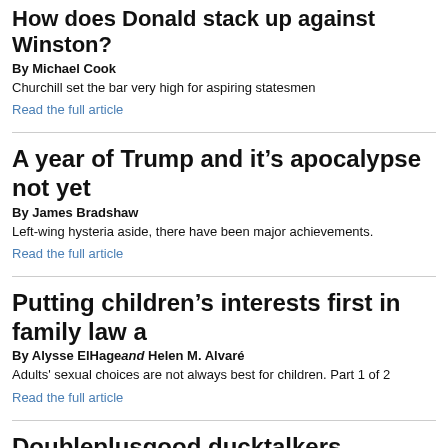How does Donald stack up against Winston?
By Michael Cook
Churchill set the bar very high for aspiring statesmen
Read the full article
A year of Trump and it’s apocalypse not yet
By James Bradshaw
Left-wing hysteria aside, there have been major achievements.
Read the full article
Putting children’s interests first in family law a
By Alysse ElHage and Helen M. Alvaré
Adults' sexual choices are not always best for children. Part 1 of 2
Read the full article
Doubleplusgood ducktalkers
By J. Budziszewski